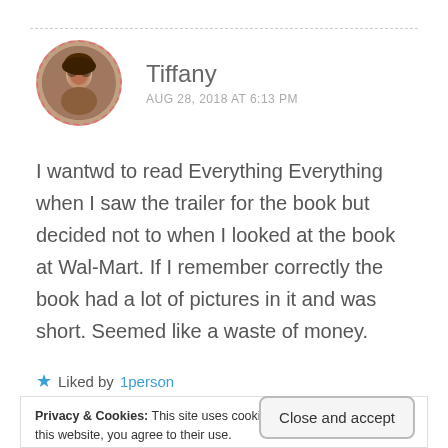[Figure (photo): Circular profile photo of Tiffany with dashed red border]
Tiffany
AUG 28, 2018 AT 6:13 PM
I wantwd to read Everything Everything when I saw the trailer for the book but decided not to when I looked at the book at Wal-Mart. If I remember correctly the book had a lot of pictures in it and was short. Seemed like a waste of money.
★ Liked by 1person
Privacy & Cookies: This site uses cookies. By continuing to use this website, you agree to their use.
To find out more, including how to control cookies, see here: Cookie Policy
Close and accept
AUG 28, 2018 AT 6:22 PM